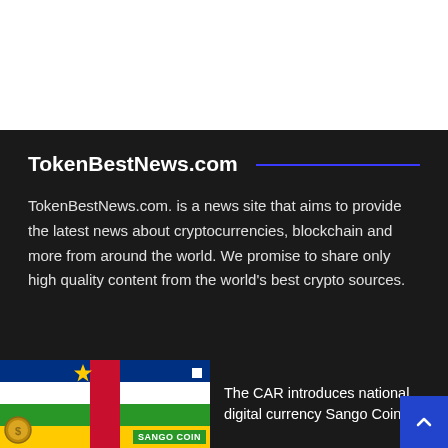[Figure (screenshot): White header/banner area at the top of the page]
TokenBestNews.com
TokenBestNews.com. is a news site that aims to provide the latest news about cryptocurrencies, blockchain and more from around the world. We promise to share only high quality content from the world’s best crypto sources.
[Figure (illustration): Thumbnail image showing Central African Republic flag with SANGO COIN label and a coin icon]
The CAR introduces national digital currency Sango Coin